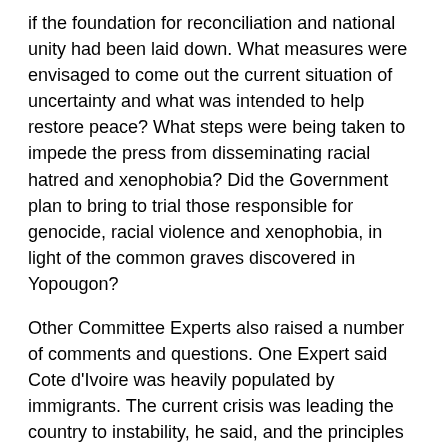if the foundation for reconciliation and national unity had been laid down. What measures were envisaged to come out the current situation of uncertainty and what was intended to help restore peace? What steps were being taken to impede the press from disseminating racial hatred and xenophobia? Did the Government plan to bring to trial those responsible for genocide, racial violence and xenophobia, in light of the common graves discovered in Yopougon?
Other Committee Experts also raised a number of comments and questions. One Expert said Cote d'Ivoire was heavily populated by immigrants. The current crisis was leading the country to instability, he said, and the principles of democracy and respect for human rights had been severely threatened.
Another Expert said Cote d'Ivoire had been a model of national stability before the current conflict. He wanted to